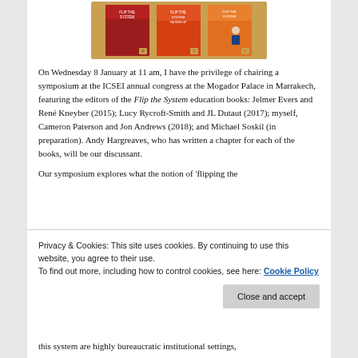[Figure (photo): Three book covers from the Flip the System series, displayed horizontally on a warm orange/red background.]
On Wednesday 8 January at 11 am, I have the privilege of chairing a symposium at the ICSEI annual congress at the Mogador Palace in Marrakech, featuring the editors of the Flip the System education books: Jelmer Evers and René Kneyber (2015); Lucy Rycroft-Smith and JL Dutaut (2017); myself, Cameron Paterson and Jon Andrews (2018); and Michael Soskil (in preparation). Andy Hargreaves, who has written a chapter for each of the books, will be our discussant.
Our symposium explores what the notion of 'flipping the
this system are highly bureaucratic institutional settings,
Privacy & Cookies: This site uses cookies. By continuing to use this website, you agree to their use.
To find out more, including how to control cookies, see here: Cookie Policy